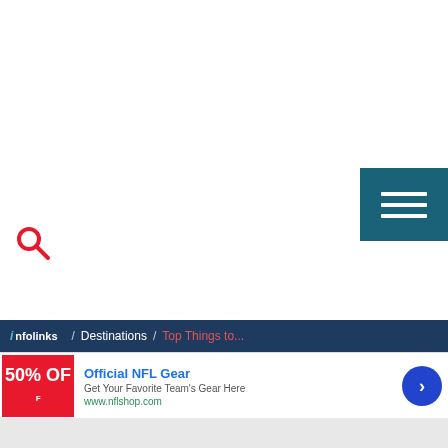[Figure (screenshot): Hamburger menu button (three white horizontal lines on teal/dark blue background), positioned top-right area of screen]
[Figure (screenshot): Red search/magnifying glass icon on left side of screen]
[Figure (screenshot): Infolinks navigation breadcrumb bar with dark blue background showing: infolinks logo / Destinations / Top Things to...]
[Figure (screenshot): Advertisement banner for Official NFL Gear showing red image with '50% OFF' text, ad text 'Official NFL Gear - Get Your Favorite Team's Gear Here - www.nflshop.com', close X button, and blue circular arrow button]